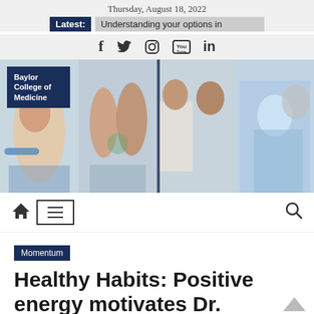Thursday, August 18, 2022
Latest: Understanding your options in
[Figure (screenshot): Social media icons: Facebook, Twitter, Instagram, YouTube, LinkedIn]
[Figure (photo): Baylor College of Medicine banner with four medical scenes: researcher with blue gloves, group training with medical mannequin, doctors in white coats consulting, surgical team performing procedure]
[Figure (infographic): Navigation bar with home icon, hamburger menu icon, and search icon]
Momentum
Healthy Habits: Positive energy motivates Dr.